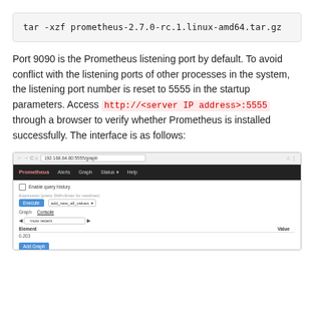tar -xzf prometheus-2.7.0-rc.1.linux-amd64.tar.gz
Port 9090 is the Prometheus listening port by default. To avoid conflict with the listening ports of other processes in the system, the listening port number is reset to 5555 in the startup parameters. Access http://<server IP address>:5555 through a browser to verify whether Prometheus is installed successfully. The interface is as follows:
[Figure (screenshot): Screenshot of Prometheus web interface in a browser, showing the Prometheus navigation bar with links (Prometheus, Alerts, Graph, Status, Help), a query input field, Execute button, Graph and Console tabs, and a table view with Element and Value columns plus an Add Graph button.]